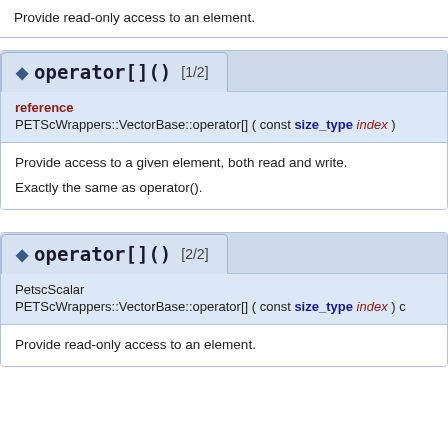Provide read-only access to an element.
◆ operator[]() [1/2]
reference
PETScWrappers::VectorBase::operator[] ( const size_type index )
Provide access to a given element, both read and write.

Exactly the same as operator().
◆ operator[]() [2/2]
PetscScalar
PETScWrappers::VectorBase::operator[] ( const size_type index ) c
Provide read-only access to an element.